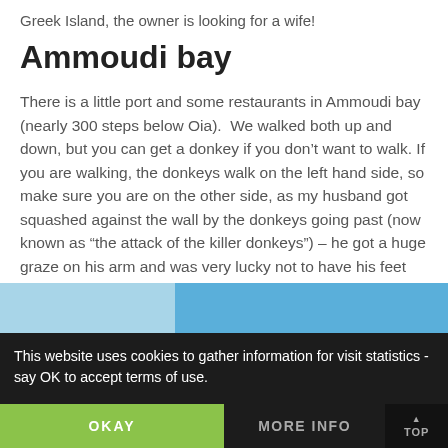Greek Island, the owner is looking for a wife!
Ammoudi bay
There is a little port and some restaurants in Ammoudi bay (nearly 300 steps below Oia). We walked both up and down, but you can get a donkey if you don't want to walk. If you are walking, the donkeys walk on the left hand side, so make sure you are on the other side, as my husband got squashed against the wall by the donkeys going past (now known as “the attack of the killer donkeys”) – he got a huge graze on his arm and was very lucky not to have his feet trampled!
[Figure (photo): Partial view of a photo, mostly obscured by cookie consent banner. Blue/cyan strip visible at top of image area.]
This website uses cookies to gather information for visit statistics - say OK to accept terms of use.
OKAY
MORE INFO
TOP